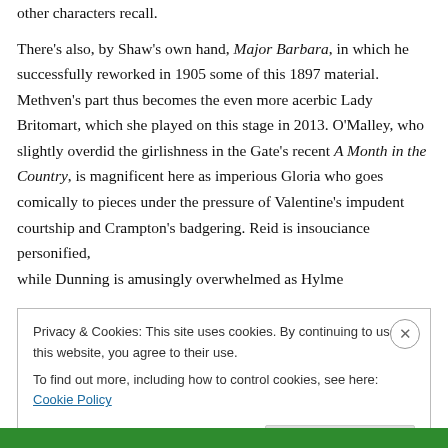other characters recall. There's also, by Shaw's own hand, Major Barbara, in which he successfully reworked in 1905 some of this 1897 material. Methven's part thus becomes the even more acerbic Lady Britomart, which she played on this stage in 2013. O'Malley, who slightly overdid the girlishness in the Gate's recent A Month in the Country, is magnificent here as imperious Gloria who goes comically to pieces under the pressure of Valentine's impudent courtship and Crampton's badgering. Reid is insouciance personified, while Dunning is amusingly overwhelmed as Hylme
Privacy & Cookies: This site uses cookies. By continuing to use this website, you agree to their use.
To find out more, including how to control cookies, see here: Cookie Policy
Close and accept